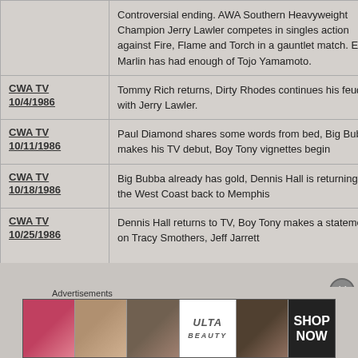| Event | Description |
| --- | --- |
| CWA TV [top cut off] | Controversial ending. AWA Southern Heavyweight Champion Jerry Lawler competes in singles action against Fire, Flame and Torch in a gauntlet match. Eddie Marlin has had enough of Tojo Yamamoto. |
| CWA TV 10/4/1986 | Tommy Rich returns, Dirty Rhodes continues his feud with Jerry Lawler. |
| CWA TV 10/11/1986 | Paul Diamond shares some words from bed, Big Bubba makes his TV debut, Boy Tony vignettes begin |
| CWA TV 10/18/1986 | Big Bubba already has gold, Dennis Hall is returning from the West Coast back to Memphis |
| CWA TV 10/25/1986 | Dennis Hall returns to TV, Boy Tony makes a statement on Tracy Smothers, Jeff Jarrett... |
[Figure (photo): Ulta Beauty advertisement banner with makeup/cosmetics imagery and 'SHOP NOW' call to action]